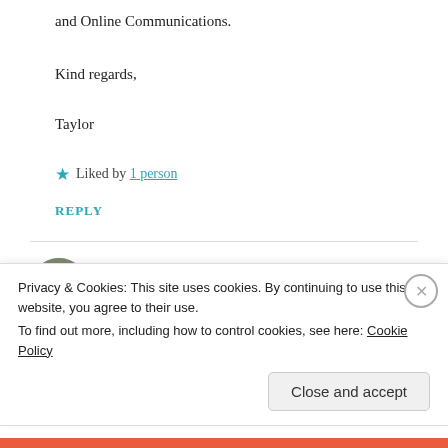and Online Communications.
Kind regards,
Taylor
★ Liked by 1 person
REPLY
mez1981
Privacy & Cookies: This site uses cookies. By continuing to use this website, you agree to their use.
To find out more, including how to control cookies, see here: Cookie Policy
Close and accept